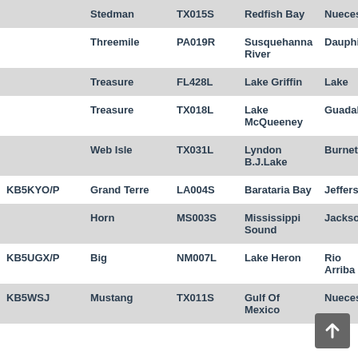|  | Island Name | Reference | Water Body | County |
| --- | --- | --- | --- | --- |
|  | Stedman | TX015S | Redfish Bay | Nueces |
|  | Threemile | PA019R | Susquehanna River | Dauphin |
|  | Treasure | FL428L | Lake Griffin | Lake |
|  | Treasure | TX018L | Lake McQueeney | Guadalupe |
|  | Web Isle | TX031L | Lyndon B.J.Lake | Burnet |
| KB5KYO/P | Grand Terre | LA004S | Barataria Bay | Jefferson |
|  | Horn | MS003S | Mississippi Sound | Jackson |
| KB5UGX/P | Big | NM007L | Lake Heron | Rio Arriba |
| KB5WSJ | Mustang | TX011S | Gulf Of Mexico | Nueces |